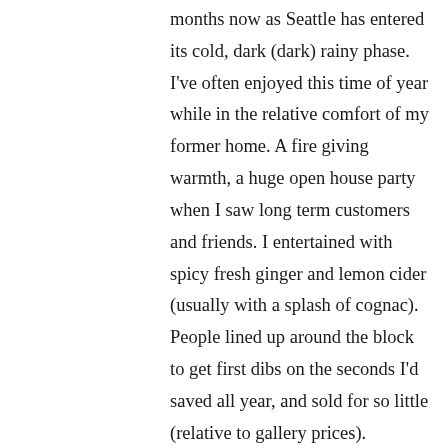months now as Seattle has entered its cold, dark (dark) rainy phase. I've often enjoyed this time of year while in the relative comfort of my former home. A fire giving warmth, a huge open house party when I saw long term customers and friends. I entertained with spicy fresh ginger and lemon cider (usually with a splash of cognac). People lined up around the block to get first dibs on the seconds I'd saved all year, and sold for so little (relative to gallery prices). Because Covid closed most of my galleries and stores, and the nail in the coffin being the closure of the facility I rented use of the heavy equipment necessary for my work, I had to sell my house and close my business. I lost well over $150k in orders and materials. Not to mention divesting myself of everything I owned but a sewing kit in my new life in